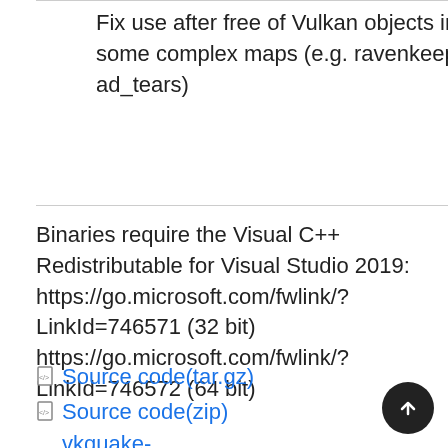Fix use after free of Vulkan objects in some complex maps (e.g. ravenkeep & ad_tears)
Binaries require the Visual C++ Redistributable for Visual Studio 2019: https://go.microsoft.com/fwlink/?LinkId=746571 (32 bit) https://go.microsoft.com/fwlink/?LinkId=746572 (64 bit)
Source code(tar.gz)
Source code(zip)
vkquake-1.05.1_win32.zip(1.22 MB)